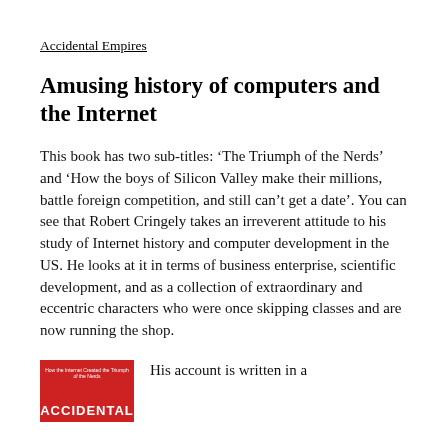Accidental Empires
Amusing history of computers and the Internet
This book has two sub-titles: ‘The Triumph of the Nerds’ and ‘How the boys of Silicon Valley make their millions, battle foreign competition, and still can’t get a date’. You can see that Robert Cringely takes an irreverent attitude to his study of Internet history and computer development in the US. He looks at it in terms of business enterprise, scientific development, and as a collection of extraordinary and eccentric characters who were once skipping classes and are now running the shop.
[Figure (photo): Book cover of Accidental Empires with red background and white text]
His account is written in a